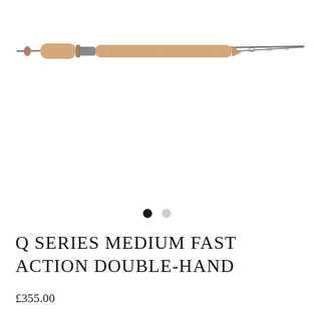[Figure (photo): A fly fishing rod with cork grip and double-hand handle, shown horizontally against a white background. The rod is long and thin, with a light tan cork grip section and dark graphite blank.]
Q SERIES MEDIUM FAST ACTION DOUBLE-HAND
£355.00